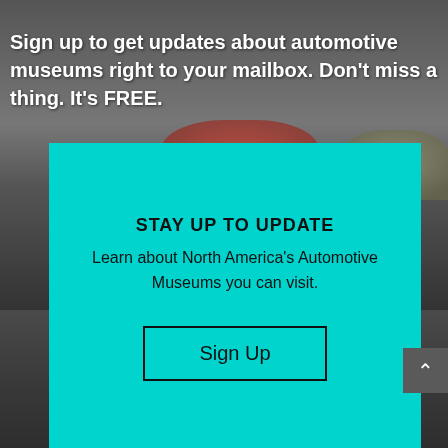[Figure (photo): Background photo of an automotive museum interior showing classic/vintage cars including a red car and a dark-colored car on a showroom floor, with a dark overlay. The image fills the full page.]
Sign up to get updates about automotive museums right to your mailbox. Don't miss a thing. It's FREE.
STAY UP TO UPDATE
Learn about North America's Automotive Museums you can visit.
Sign Up